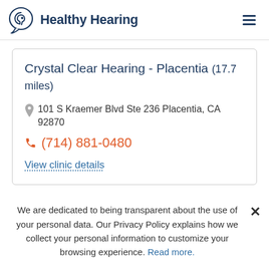Healthy Hearing
Crystal Clear Hearing - Placentia (17.7 miles)
101 S Kraemer Blvd Ste 236 Placentia, CA 92870
(714) 881-0480
View clinic details
We are dedicated to being transparent about the use of your personal data. Our Privacy Policy explains how we collect your personal information to customize your browsing experience. Read more.